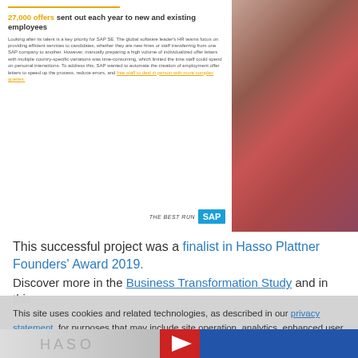27,000 offers sent out each year to new and existing employees
Looking after its talent is a key priority for SAP SE. The global software leader's HR teams focus on providing efficient services to candidates, whether they are new hires or staff transferring from one SAP company to another. However, manually preparing a high volume of individualized offer letters with multiple country-specific variations was time-consuming, which limited the time staff could spend on personal interactions. To address this, SAP wanted to automate the creation of employment offer letters to speed up the process, reduce errors, and free staff to deal in person with more complex queries.
[Figure (photo): Person in red/maroon top, blurred background]
This successful project was a finalist in Hasso Plattner Founders' Award 2019.
Discover more in the Business Transformation Study and in this
This site uses cookies and related technologies, as described in our privacy statement, for purposes that may include site operation, analytics, enhanced user experience, or advertising. You may choose to consent to our use of these technologies, or manage your own preferences.
Accept Cookies
More Information
Privacy Policy | Powered by: TrustArc